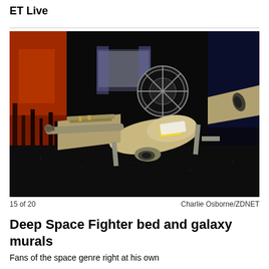ET Live
[Figure (photo): A Star Wars-themed Y-wing style fighter spacecraft bed displayed in a darkened room with orange and galaxy-themed murals on the walls. The bed is shaped like a spaceship with wings, cannons, and engine details.]
15 of 20
Charlie Osborne/ZDNET
Deep Space Fighter bed and galaxy murals
Fans of the space genre right at his own...